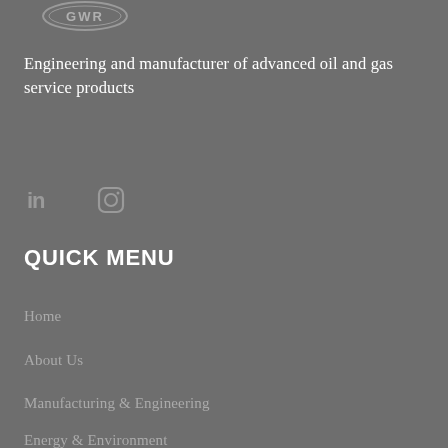[Figure (logo): Company logo — circular emblem with 'GWR' text, light grey on dark grey background]
Engineering and manufacturer of advanced oil and gas service products
[Figure (illustration): Social media icons: LinkedIn (in) and Instagram camera icon, in grey]
QUICK MENU
Home
About Us
Manufacturing & Engineering
Energy & Environment